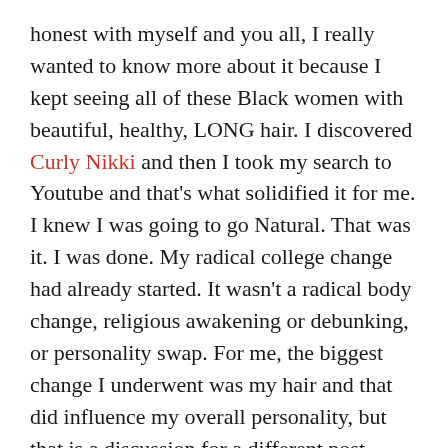honest with myself and you all, I really wanted to know more about it because I kept seeing all of these Black women with beautiful, healthy, LONG hair. I discovered Curly Nikki and then I took my search to Youtube and that's what solidified it for me. I knew I was going to go Natural. That was it. I was done. My radical college change had already started. It wasn't a radical body change, religious awakening or debunking, or personality swap. For me, the biggest change I underwent was my hair and that did influence my overall personality, but that is a discussion for a different post.
I told my mom and dad what I wanted to do and they were sort of on board. Remember, this was 2013, and although the Natural Hair Movement started gaining steam in 2009 a) I was in the Midwest and b) it hadn't hit its saturation point yet so at the time we still had people who were very